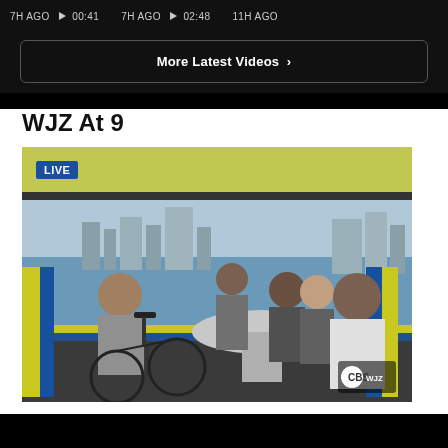7H AGO ▶ 00:41   7H AGO ▶ 02:48   11H AGO
More Latest Videos ›
WJZ At 9
[Figure (photo): Live news broadcast from a pedal boat or party boat on a harbor waterway. A man in a gray hoodie gestures toward the camera on the left side, holding a drink. Several other people sit around a round table in the center-right, including a large man in a white shirt and dark shorts on the far right. Bicycles are visible in the foreground. The word LIVE appears in a blue badge in the upper left. A city skyline is visible in the background. WJZ CBS logo in the lower right corner.]